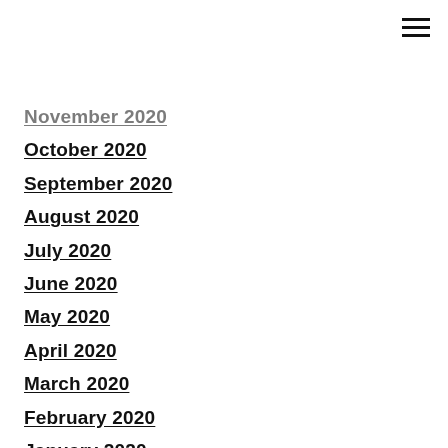November 2020
October 2020
September 2020
August 2020
July 2020
June 2020
May 2020
April 2020
March 2020
February 2020
January 2020
December 2019
November 2019
October 2019
September 2019
August 2019
July 2019